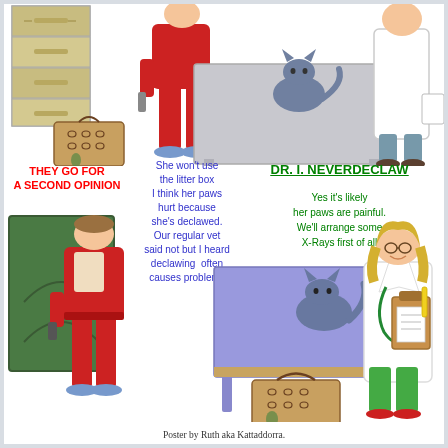[Figure (illustration): Top scene: filing cabinet on left, person in red jumpsuit standing at gray exam table with gray cat on it, doctor in white coat on far right holding papers]
THEY GO FOR A SECOND OPINION
She won't use the litter box I think her paws hurt because she's declawed. Our regular vet said not but I heard declawing often causes problems
DR. I. NEVERDECLAW
Yes it's likely her paws are painful. We'll arrange some X-Rays first of all
[Figure (illustration): Bottom scene: person in red jumpsuit standing near green door on left, blue exam table with gray cat on it in center, cardboard pet carrier below table, female doctor/vet in white coat and green pants holding clipboard on right]
Poster by Ruth aka Kattaddorra.